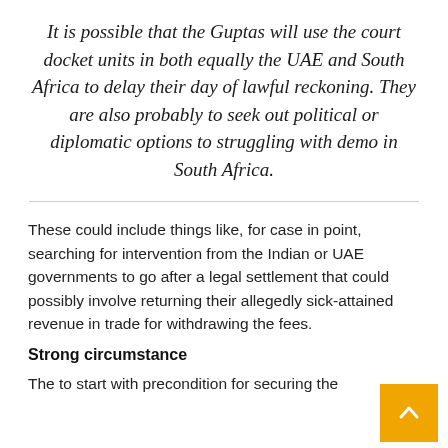It is possible that the Guptas will use the court docket units in both equally the UAE and South Africa to delay their day of lawful reckoning. They are also probably to seek out political or diplomatic options to struggling with demo in South Africa.
These could include things like, for case in point, searching for intervention from the Indian or UAE governments to go after a legal settlement that could possibly involve returning their allegedly sick-attained revenue in trade for withdrawing the fees.
Strong circumstance
The to start with precondition for securing the